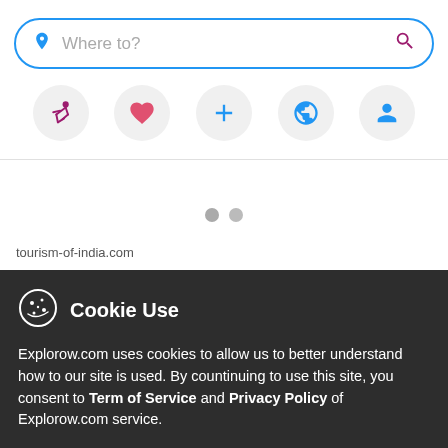[Figure (screenshot): Search bar with location pin icon, placeholder text 'Where to?', and a pink/magenta search magnifier icon, all within a blue rounded border.]
[Figure (screenshot): Row of five icon circles: purple running figure, pink heart, blue plus sign, blue globe, blue person silhouette.]
[Figure (screenshot): White content area with two grey dot indicators and a 'tourism-of-india.com' label at the bottom left.]
Cookie Use
Explorow.com uses cookies to allow us to better understand how to our site is used. By countinuing to use this site, you consent to Term of Service and Privacy Policy of Explorow.com service.
[Figure (screenshot): Two buttons: 'More info' (grey) and 'Accept all' (blue).]